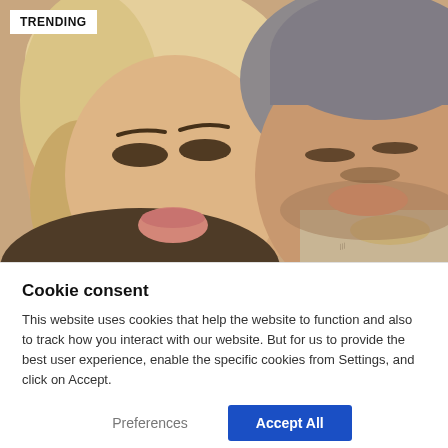[Figure (photo): Selfie photo of two people close together. A blonde woman on the left making a kissing face with dramatic eye makeup, and a man on the right with stubble and a grey beanie hat, eyes partially closed, wearing a chain necklace. A 'TRENDING' badge appears in the top-left corner of the image.]
Cookie consent
This website uses cookies that help the website to function and also to track how you interact with our website. But for us to provide the best user experience, enable the specific cookies from Settings, and click on Accept.
Preferences
Accept All